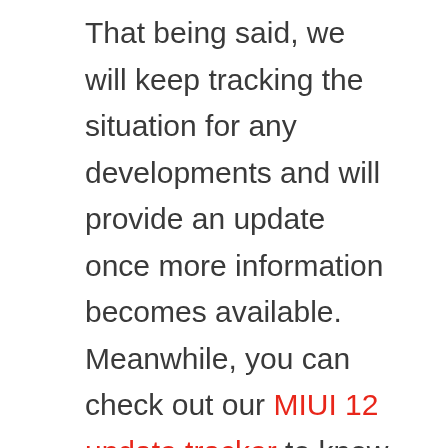That being said, we will keep tracking the situation for any developments and will provide an update once more information becomes available. Meanwhile, you can check out our MIUI 12 update tracker to know when it arrives on your device.
[Figure (other): Like/heart button (red circle with heart icon) with count of 1, and a share button below it]